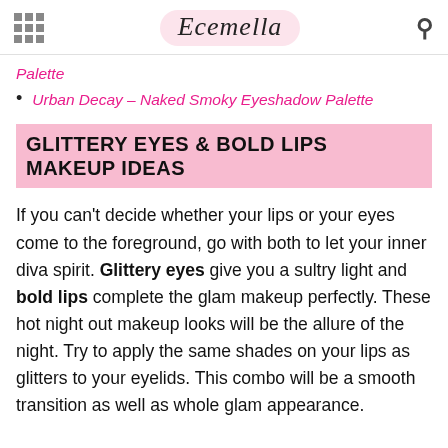Ecemella
Palette
Urban Decay – Naked Smoky Eyeshadow Palette
GLITTERY EYES & BOLD LIPS MAKEUP IDEAS
If you can't decide whether your lips or your eyes come to the foreground, go with both to let your inner diva spirit. Glittery eyes give you a sultry light and bold lips complete the glam makeup perfectly. These hot night out makeup looks will be the allure of the night. Try to apply the same shades on your lips as glitters to your eyelids. This combo will be a smooth transition as well as whole glam appearance.